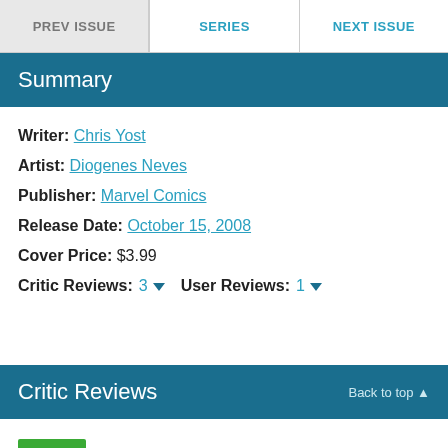PREV ISSUE | SERIES | NEXT ISSUE
Summary
Writer: Chris Yost
Artist: Diogenes Neves
Publisher: Marvel Comics
Release Date: October 15, 2008
Cover Price: $3.99
Critic Reviews: 3  User Reviews: 1
Critic Reviews   Back to top
Comics Bulletin